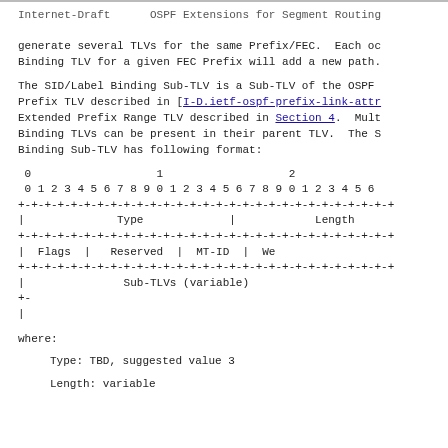Internet-Draft      OSPF Extensions for Segment Routing
generate several TLVs for the same Prefix/FEC.  Each oc Binding TLV for a given FEC Prefix will add a new path.
The SID/Label Binding Sub-TLV is a Sub-TLV of the OSPF Prefix TLV described in [I-D.ietf-ospf-prefix-link-attr Extended Prefix Range TLV described in Section 4.  Mult Binding TLVs can be present in their parent TLV.  The S Binding Sub-TLV has following format:
[Figure (schematic): Bit field diagram showing the SID/Label Binding Sub-TLV format. Fields: Type (bits 0-15), Length (bits 16-31), Flags (bits 0-7), Reserved (bits 8-15), MT-ID (bits 16-23), We (bits 24-31), Sub-TLVs (variable).]
where:
Type: TBD, suggested value 3
Length: variable